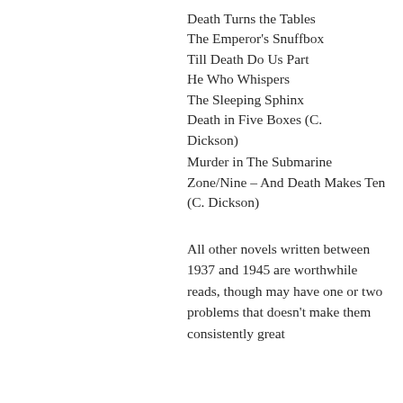Death Turns the Tables
The Emperor's Snuffbox
Till Death Do Us Part
He Who Whispers
The Sleeping Sphinx
Death in Five Boxes (C. Dickson)
Murder in The Submarine Zone/Nine – And Death Makes Ten (C. Dickson)
All other novels written between 1937 and 1945 are worthwhile reads, though may have one or two problems that doesn't make them consistently great